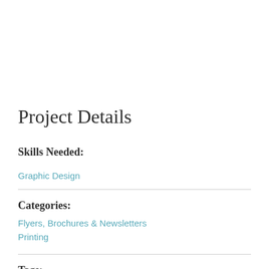Project Details
Skills Needed:
Graphic Design
Categories:
Flyers, Brochures & Newsletters
Printing
Tags:
Newsletters
Printing